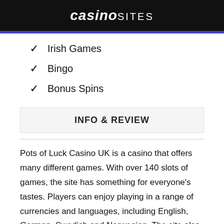casino SITES
Irish Games
Bingo
Bonus Spins
INFO & REVIEW
Pots of Luck Casino UK is a casino that offers many different games. With over 140 slots of games, the site has something for everyone's tastes. Players can enjoy playing in a range of currencies and languages, including English, German, Swedish and Norwegian. The site also allows players to play from their mobile devices or on their desktop computers. They have an excellent customer service team who are available 24 hours a day to help with any queries you may